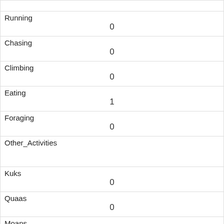| Running | 0 |
| Chasing | 0 |
| Climbing | 0 |
| Eating | 1 |
| Foraging | 0 |
| Other_Activities |  |
| Kuks | 0 |
| Quaas | 0 |
| Moans | 0 |
| Tail_flags | 0 |